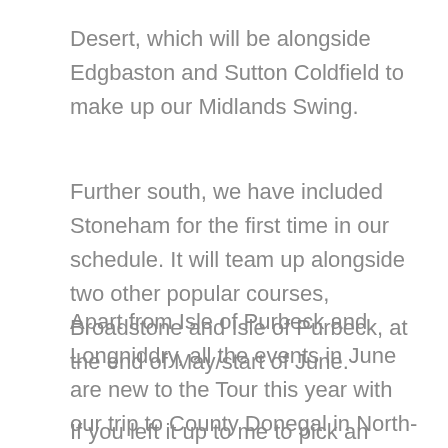Desert, which will be alongside Edgbaston and Sutton Coldfield to make up our Midlands Swing.
Further south, we have included Stoneham for the first time in our schedule. It will team up alongside two other popular courses, Broadstone and Isle of Purbeck, at the end of May/start of June.
Apart from Isle of Purbeck and Longniddry, all the events in June are new to the Tour this year with our trip to County Donegal in North-west Ireland really catching the eye.
If you left it up to me to pick an event in July, I